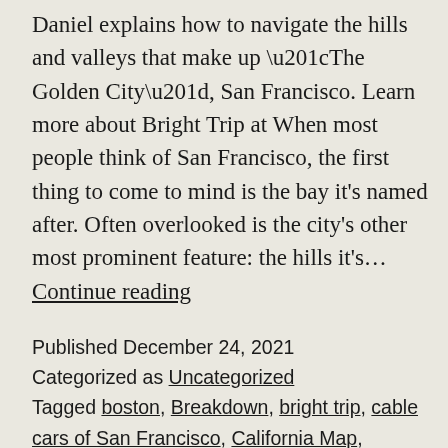Daniel explains how to navigate the hills and valleys that make up “The Golden City”, San Francisco. Learn more about Bright Trip at When most people think of San Francisco, the first thing to come to mind is the bay it’s named after. Often overlooked is the city’s other most prominent feature: the hills it’s… Continue reading
Published December 24, 2021
Categorized as Uncategorized
Tagged boston, Breakdown, bright trip, cable cars of San Francisco, California Map, chicago, design of SF, francisco, getting around sf, how to travel 2020, how to